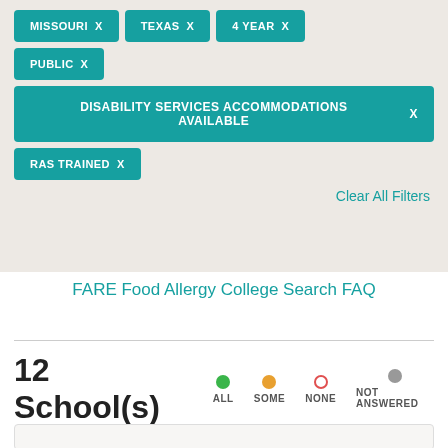MISSOURI X   TEXAS X   4 YEAR X
PUBLIC X
DISABILITY SERVICES ACCOMMODATIONS AVAILABLE X
RAS TRAINED X
Clear All Filters
FARE Food Allergy College Search FAQ
12 School(s)  ALL  SOME  NONE  NOT ANSWERED